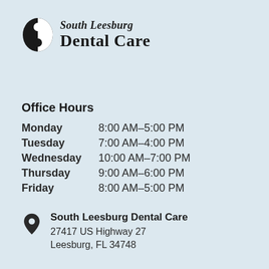[Figure (logo): South Leesburg Dental Care logo with yin-yang style tooth icon and serif text]
Office Hours
| Day | Hours |
| --- | --- |
| Monday | 8:00 AM–5:00 PM |
| Tuesday | 7:00 AM–4:00 PM |
| Wednesday | 10:00 AM–7:00 PM |
| Thursday | 9:00 AM–6:00 PM |
| Friday | 8:00 AM–5:00 PM |
South Leesburg Dental Care
27417 US Highway 27
Leesburg, FL 34748